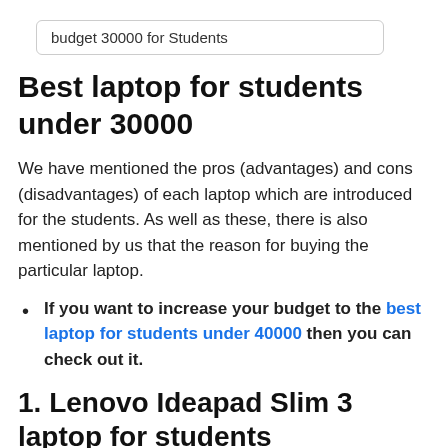budget 30000 for Students
Best laptop for students under 30000
We have mentioned the pros (advantages) and cons (disadvantages) of each laptop which are introduced for the students. As well as these, there is also mentioned by us that the reason for buying the particular laptop.
If you want to increase your budget to the best laptop for students under 40000 then you can check out it.
1. Lenovo Ideapad Slim 3 laptop for students